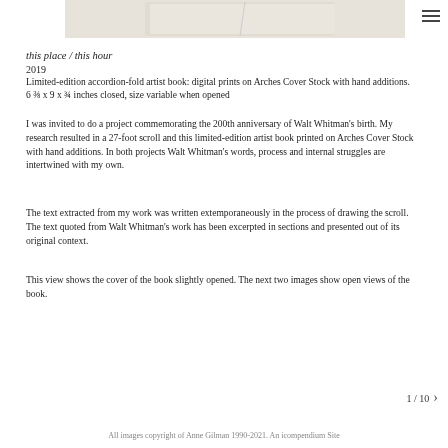[Figure (photo): Partial view of an artist book slightly opened, shown against a light beige/cream background. Top portion of image is cropped.]
this place / this hour
2019
Limited-edition accordion-fold artist book: digital prints on Arches Cover Stock with hand additions. 6 ⅜ x 9 x ¾ inches closed, size variable when opened
I was invited to do a project commemorating the 200th anniversary of Walt Whitman's birth. My research resulted in a 27-foot scroll and this limited-edition artist book printed on Arches Cover Stock with hand additions. In both projects Walt Whitman's words, process and internal struggles are intertwined with my own.
The text extracted from my work was written extemporaneously in the process of drawing the scroll. The text quoted from Walt Whitman's work has been excerpted in sections and presented out of its original context.
This view shows the cover of the book slightly opened. The next two images show open views of the book.
1 / 10
All images copyright of Anne Gilman 1990-2021. An icompendium Site